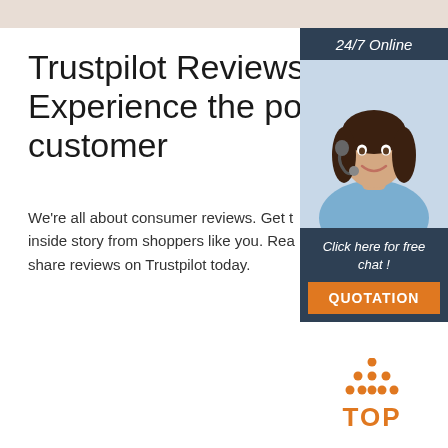Trustpilot Reviews: Experience the power customer
We're all about consumer reviews. Get the inside story from shoppers like you. Read and share reviews on Trustpilot today.
[Figure (infographic): Orange 'Get Price' button]
[Figure (infographic): Sidebar with 24/7 Online label, photo of a smiling woman with headset, Click here for free chat text, and orange QUOTATION button]
[Figure (logo): Orange TOP logo with dot triangle above the word TOP]